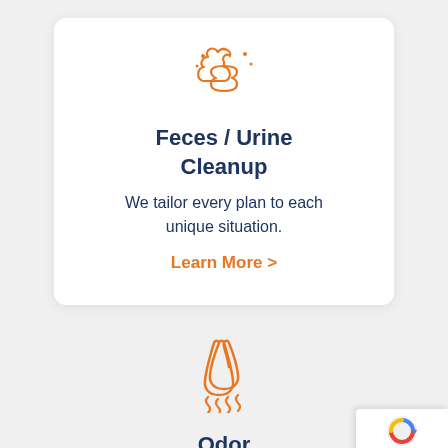[Figure (illustration): Orange line-art icon of a cartoon poop with sparkles/dots around it]
Feces / Urine Cleanup
We tailor every plan to each unique situation.
Learn More >
[Figure (illustration): Orange line-art icon of a nose with wavy smell lines below it]
Odor Removal